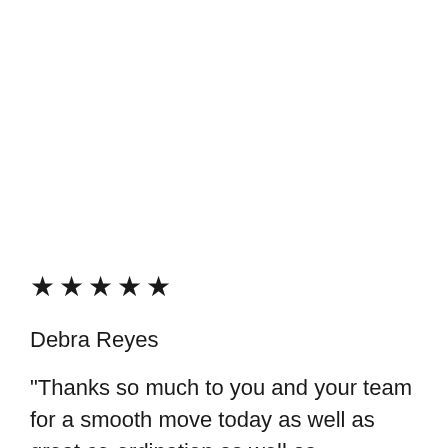★★★★★
Debra Reyes
“Thanks so much to you and your team for a smooth move today as well as great co-ordination as well as interaction. I definitely